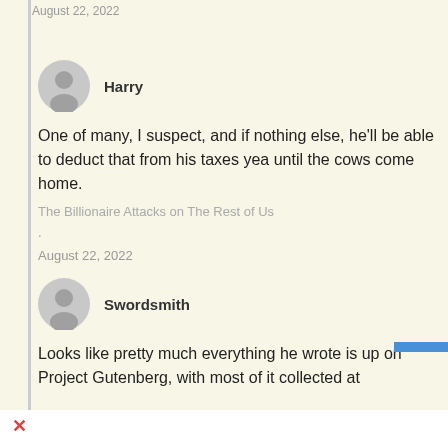August 22, 2022
Harry
One of many, I suspect, and if nothing else, he'll be able to deduct that from his taxes yea until the cows come home.
The Billionaire Attacks on The Rest of Us
.
August 22, 2022
Swordsmith
Looks like pretty much everything he wrote is up on Project Gutenberg, with most of it collected at